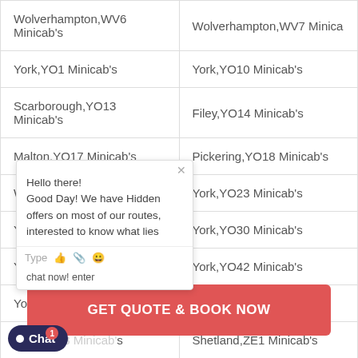| Wolverhampton,WV6 Minicab's | Wolverhampton,WV7 Minicab's |
| York,YO1 Minicab's | York,YO10 Minicab's |
| Scarborough,YO13 Minicab's | Filey,YO14 Minicab's |
| Malton,YO17 Minicab's | Pickering,YO18 Minicab's |
| Whitby,YO22 Minicab's | York,YO23 Minicab's |
| York,YO26 Minicab's | York,YO30 Minicab's |
| York,YO41 Minicab's | York,YO42 Minicab's |
| York,YO60 Minicab's | York,YO61 Minicab's |
| Selby,YO8 Minicab's | Shetland,ZE1 Minicab's |
[Figure (screenshot): Chat popup overlay with message: Hello there! Good Day! We have Hidden offers on most of our routes, interested to know what lies... with Type input bar and emoji icons]
[Figure (other): Red CTA button: GET QUOTE & BOOK NOW]
[Figure (other): Dark blue Chat widget button with notification badge showing 1]